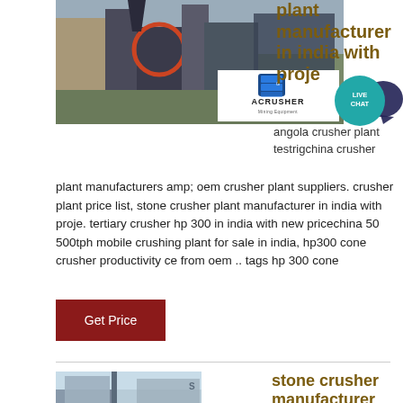[Figure (photo): Mining crusher equipment machinery photographed outdoors with mountains in background, ACRUSHER Mining Equipment logo overlay in bottom right]
plant manufacturer in india with proje
[Figure (infographic): Live Chat speech bubble icon in teal/dark blue]
angola crusher plant testrigchina crusher plant manufacturers amp; oem crusher plant suppliers. crusher plant price list, stone crusher plant manufacturer in india with proje. tertiary crusher hp 300 in india with new pricechina 50 500tph mobile crushing plant for sale in india, hp300 cone crusher productivity ce from oem .. tags hp 300 cone
Get Price
[Figure (photo): Stone crusher manufacturer image, partial view]
stone crusher manufacturer